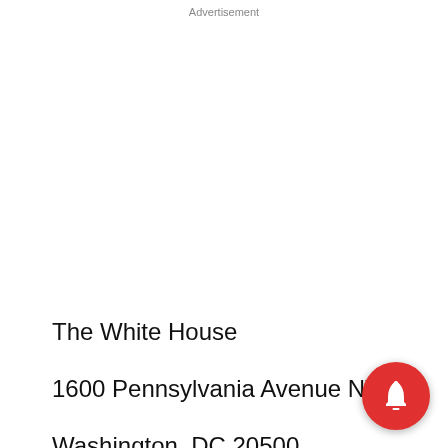Advertisement
The White House
1600 Pennsylvania Avenue NW
Washington, DC 20500